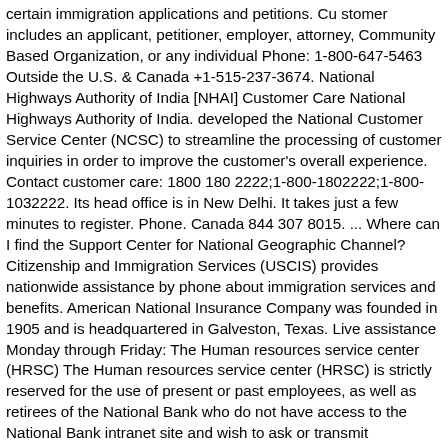certain immigration applications and petitions. Cu stomer includes an applicant, petitioner, employer, attorney, Community Based Organization, or any individual Phone: 1-800-647-5463 Outside the U.S. & Canada +1-515-237-3674. National Highways Authority of India [NHAI] Customer Care National Highways Authority of India. developed the National Customer Service Center (NCSC) to streamline the processing of customer inquiries in order to improve the customer's overall experience. Contact customer care: 1800 180 2222;1-800-1802222;1-800-1032222. Its head office is in New Delhi. It takes just a few minutes to register. Phone. Canada 844 307 8015. ... Where can I find the Support Center for National Geographic Channel? Citizenship and Immigration Services (USCIS) provides nationwide assistance by phone about immigration services and benefits. American National Insurance Company was founded in 1905 and is headquartered in Galveston, Texas. Live assistance Monday through Friday: The Human resources service center (HRSC) The Human resources service center (HRSC) is strictly reserved for the use of present or past employees, as well as retirees of the National Bank who do not have access to the National Bank intranet site and wish to ask or transmit information related to their professional life at National Bank. I forgot to attach my cover letter. National Coverage Center. Customer Care Center USPS-NCSC 225 N. Humphreys Blvd Ste 501 Memphis, TN 38188-1001 What do I do? Customer Service. National Consumer Center Review –